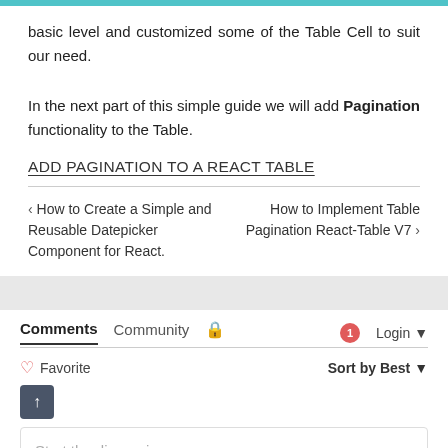basic level and customized some of the Table Cell to suit our need.
In the next part of this simple guide we will add Pagination functionality to the Table.
ADD PAGINATION TO A REACT TABLE
‹ How to Create a Simple and Reusable Datepicker Component for React.
How to Implement Table Pagination React-Table V7 ›
Comments  Community  🔒   1  Login ▾
♡ Favorite   Sort by Best ▾
Start the discussion...